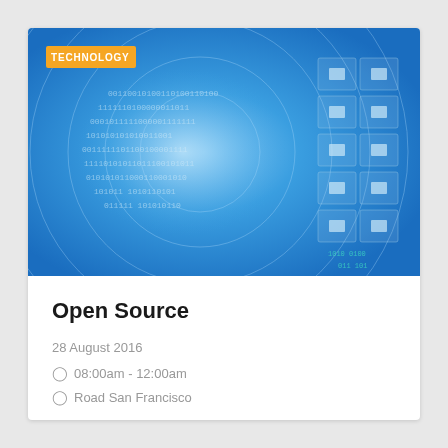[Figure (photo): Technology-themed header image showing binary code digits arranged in a circular tunnel pattern on a blue background, with a grid of app/web icons on the right side.]
Open Source
28 August 2016
08:00am - 12:00am
Road San Francisco